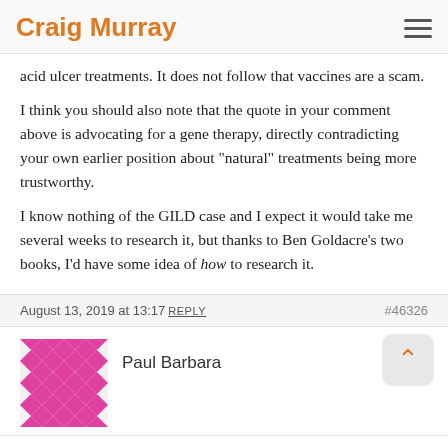Craig Murray
acid ulcer treatments. It does not follow that vaccines are a scam.
I think you should also note that the quote in your comment above is advocating for a gene therapy, directly contradicting your own earlier position about "natural" treatments being more trustworthy.
I know nothing of the GILD case and I expect it would take me several weeks to research it, but thanks to Ben Goldacre's two books, I'd have some idea of how to research it.
August 13, 2019 at 13:17 REPLY   #46326
Paul Barbara
@ Clark August 13, 2019 at 09:00
You largely agree with my position re Big Pharma's lack of interest